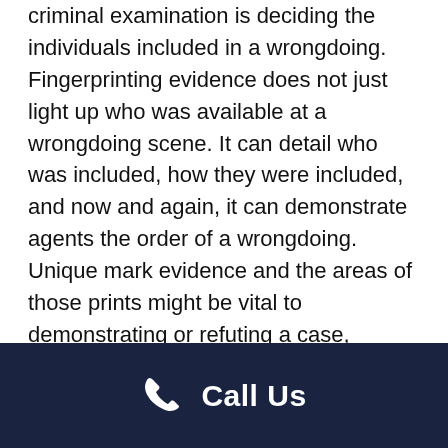criminal examination is deciding the individuals included in a wrongdoing. Fingerprinting evidence does not just light up who was available at a wrongdoing scene. It can detail who was included, how they were included, and now and again, it can demonstrate agents the order of a wrongdoing. Unique mark evidence and the areas of those prints might be vital to demonstrating or refuting a case, particularly if the prints are found on weapons or in particular spots. Without unique mark evidence, distinguishing proof of those included in wrongdoings gets to be a great deal more troublesome, and now and again, can't be
Call Us